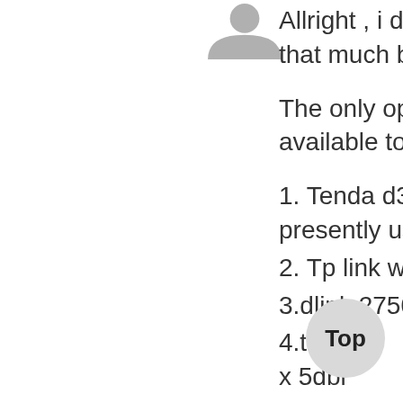[Figure (illustration): Grey avatar/profile icon placeholder image]
Allright , i dont have that much budget ...
The only options available to me are ..
1. Tenda d303 ( presently using)
2. Tp link w8968
3.dlink 2750u
4.tenda f x 5dbi
[Figure (illustration): Top button - circular grey button with text 'Top']